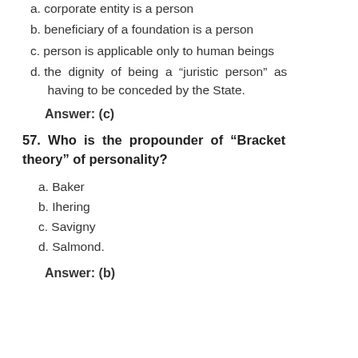a. corporate entity is a person
b. beneficiary of a foundation is a person
c. person is applicable only to human beings
d. the dignity of being a "juristic person" as having to be conceded by the State.
Answer: (c)
57. Who is the propounder of "Bracket theory" of personality?
a. Baker
b. Ihering
c. Savigny
d. Salmond.
Answer: (b)